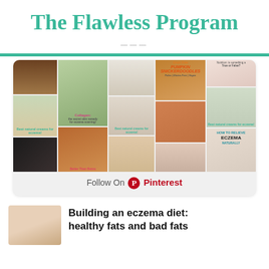The Flawless Program
[Figure (screenshot): Pinterest widget mosaic collage showing multiple skin care, food, and health-related images including cream jars, collagen, grain free pumpkin snickerdoodles, eczema remedies, and a 'Follow On Pinterest' button below]
Follow On Pinterest
Building an eczema diet: healthy fats and bad fats